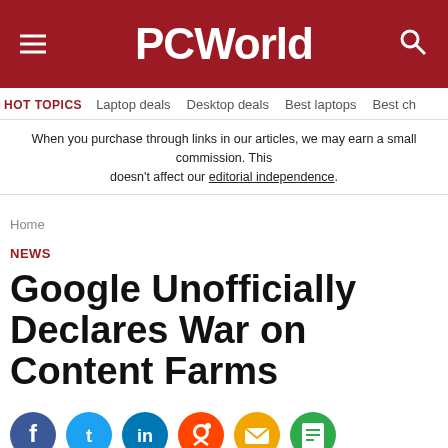PCWorld
HOT TOPICS   Laptop deals   Desktop deals   Best laptops   Best ch
When you purchase through links in our articles, we may earn a small commission. This doesn't affect our editorial independence.
Home
NEWS
Google Unofficially Declares War on Content Farms
[Figure (other): Social sharing icons: Facebook, Twitter, LinkedIn, Reddit, Email, Print]